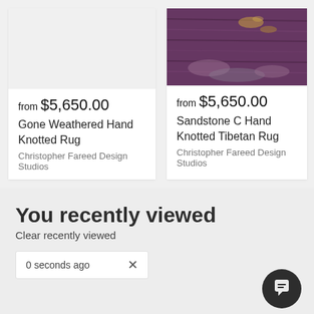[Figure (photo): Product card with gray placeholder image area for Gone Weathered Hand Knotted Rug]
from $5,650.00
Gone Weathered Hand Knotted Rug
Christopher Fareed Design Studios
[Figure (photo): Product card with purple/mauve textured rug image for Sandstone C Hand Knotted Tibetan Rug]
from $5,650.00
Sandstone C Hand Knotted Tibetan Rug
Christopher Fareed Design Studios
You recently viewed
Clear recently viewed
0 seconds ago